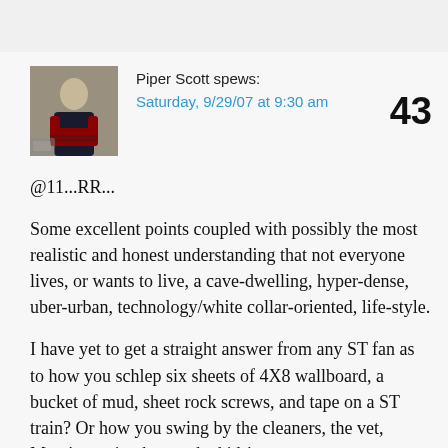[Figure (photo): Avatar photo of a man in a kilt playing bagpipes next to a car]
Piper Scott spews:
Saturday, 9/29/07 at 9:30 am
43
@11...RR...
Some excellent points coupled with possibly the most realistic and honest understanding that not everyone lives, or wants to live, a cave-dwelling, hyper-dense, uber-urban, technology/white collar-oriented, life-style.
I have yet to get a straight answer from any ST fan as to how you schlep six sheets of 4X8 wallboard, a bucket of mud, sheet rock screws, and tape on a ST train? Or how you swing by the cleaners, the vet, Mom's nursing home, the kids'